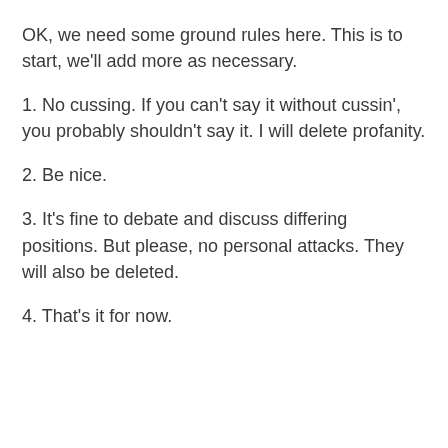OK, we need some ground rules here. This is to start, we'll add more as necessary.
1. No cussing. If you can't say it without cussin', you probably shouldn't say it. I will delete profanity.
2. Be nice.
3. It's fine to debate and discuss differing positions. But please, no personal attacks. They will also be deleted.
4. That's it for now.